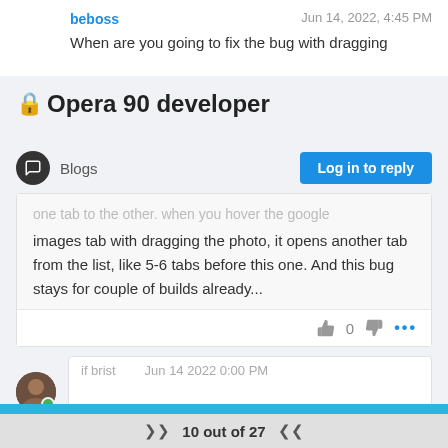beboss   Jun 14, 2022, 4:45 PM
When are you going to fix the bug with dragging
🔒Opera 90 developer
Blogs   Log in to reply
one tab to the other. when you hover the google images tab with dragging the photo, it opens another tab from the list, like 5-6 tabs before this one. And this bug stays for couple of builds already...
👍 0 👎 ...
if brist   Jun 14 2022 0:00 PM
10 out of 27